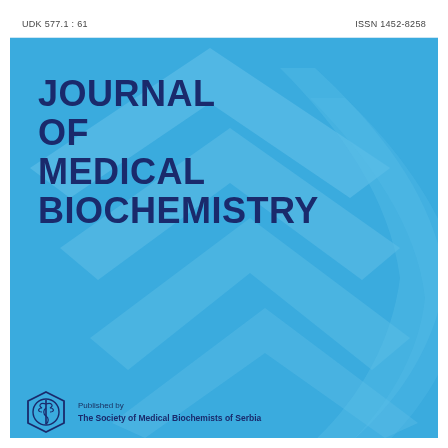UDK 577.1 : 61    ISSN 1452-8258
JOURNAL OF MEDICAL BIOCHEMISTRY
[Figure (logo): Society of Medical Biochemists of Serbia logo — circular emblem with stylized snake/medical symbol]
Published by
The Society of Medical Biochemists of Serbia